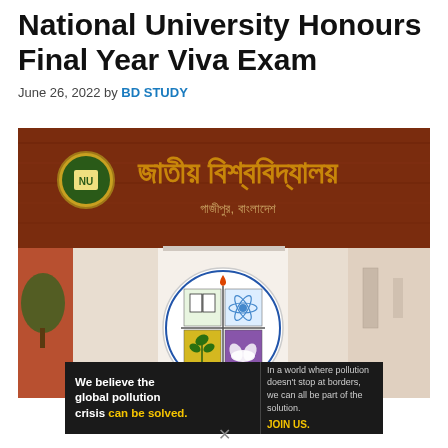National University Honours Final Year Viva Exam
June 26, 2022 by BD STUDY
[Figure (photo): Photograph of National University Bangladesh building entrance showing a red wooden sign with Bengali text 'জাতীয় বিশ্ববিদ্যালয়' (National University) and the university crest/logo emblem on a white gate pillar]
[Figure (infographic): Advertisement banner: 'We believe the global pollution crisis can be solved.' with Pure Earth logo]